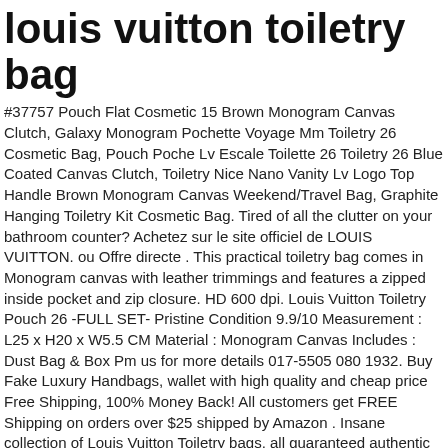louis vuitton toiletry bag
#37757 Pouch Flat Cosmetic 15 Brown Monogram Canvas Clutch, Galaxy Monogram Pochette Voyage Mm Toiletry 26 Cosmetic Bag, Pouch Poche Lv Escale Toilette 26 Toiletry 26 Blue Coated Canvas Clutch, Toiletry Nice Nano Vanity Lv Logo Top Handle Brown Monogram Canvas Weekend/Travel Bag, Graphite Hanging Toiletry Kit Cosmetic Bag. Tired of all the clutter on your bathroom counter? Achetez sur le site officiel de LOUIS VUITTON. ou Offre directe . This practical toiletry bag comes in Monogram canvas with leather trimmings and features a zipped inside pocket and zip closure. HD 600 dpi. Louis Vuitton Toiletry Pouch 26 -FULL SET- Pristine Condition 9.9/10 Measurement : L25 x H20 x W5.5 CM Material : Monogram Canvas Includes : Dust Bag & Box Pm us for more details 017-5505 080 1932. Buy Fake Luxury Handbags, wallet with high quality and cheap price Free Shipping, 100% Money Back! All customers get FREE Shipping on orders over $25 shipped by Amazon . Insane collection of Louis Vuitton Toiletry bags, all guaranteed authentic at incredible prices. It slips easily into a handbag. HD 480 dpi. Prada. Its washable lining and gusset sides make it a very practical accessory. 34,99 EUR de frais de livraison. Louis Vuitton (Luggage, Baggage) Le Porte-Habits Armoire. 700,00 EUR. Free shipping on many items | Browse your favorite brands | affordable